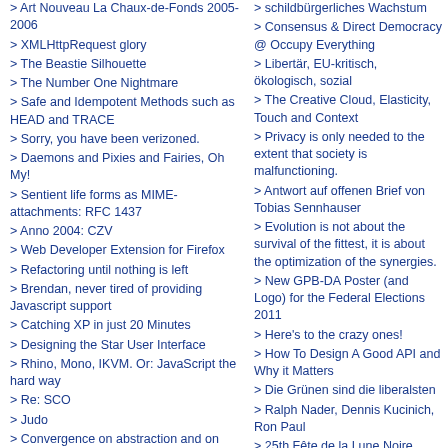> Art Nouveau La Chaux-de-Fonds 2005-2006
> XMLHttpRequest glory
> The Beastie Silhouette
> The Number One Nightmare
> Safe and Idempotent Methods such as HEAD and TRACE
> Sorry, you have been verizoned.
> Daemons and Pixies and Fairies, Oh My!
> Sentient life forms as MIME-attachments: RFC 1437
> Anno 2004: CZV
> Web Developer Extension for Firefox
> Refactoring until nothing is left
> Brendan, never tired of providing Javascript support
> Catching XP in just 20 Minutes
> Designing the Star User Interface
> Rhino, Mono, IKVM. Or: JavaScript the hard way
> Re: SCO
> Judo
> Convergence on abstraction and on browser-based Console
> schildbürgerliches Wachstum
> Consensus & Direct Democracy @ Occupy Everything
> Libertär, EU-kritisch, ökologisch, sozial
> The Creative Cloud, Elasticity, Touch and Context
> Privacy is only needed to the extent that society is malfunctioning.
> Antwort auf offenen Brief von Tobias Sennhauser
> Evolution is not about the survival of the fittest, it is about the optimization of the synergies.
> New GPB-DA Poster (and Logo) for the Federal Elections 2011
> Here's to the crazy ones!
> How To Design A Good API and Why it Matters
> Die Grünen sind die liberalsten
> Ralph Nader, Dennis Kucinich, Ron Paul
> 25th Fête de la Lune Noire